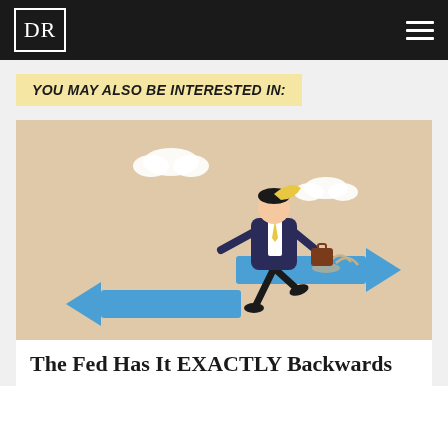DR
YOU MAY ALSO BE INTERESTED IN:
[Figure (illustration): Illustration of a businessman in a suit running and jumping over two large blue arrows pointing in opposite directions (one pointing right, one pointing left), set against a beige/tan background with small white clouds]
The Fed Has It EXACTLY Backwards